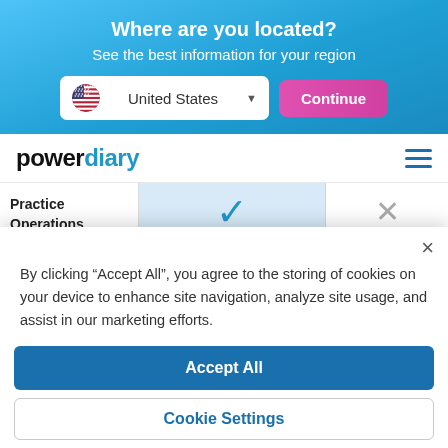Where are you located?
See the best information for your region
[Figure (screenshot): Region selector with United States flag dropdown and Continue button]
[Figure (logo): Power Diary logo with hamburger menu]
|  | Power Diary | Other |
| --- | --- | --- |
| Practice Operations Manual | ✓ This industry-first feature provides a core set of policies | ✗ |
By clicking “Accept All”, you agree to the storing of cookies on your device to enhance site navigation, analyze site usage, and assist in our marketing efforts.
Accept All
Cookie Settings